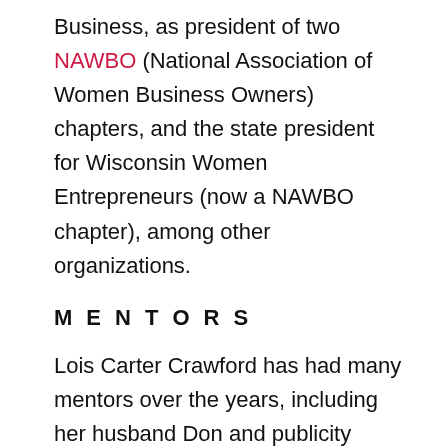Business, as president of two NAWBO (National Association of Women Business Owners) chapters, and the state president for Wisconsin Women Entrepreneurs (now a NAWBO chapter), among other organizations.
MENTORS
Lois Carter Crawford has had many mentors over the years, including her husband Don and publicity expert and publisher Joan Stewart. Her first Success Team, consisting of Jo DeMars, Peig Myota,